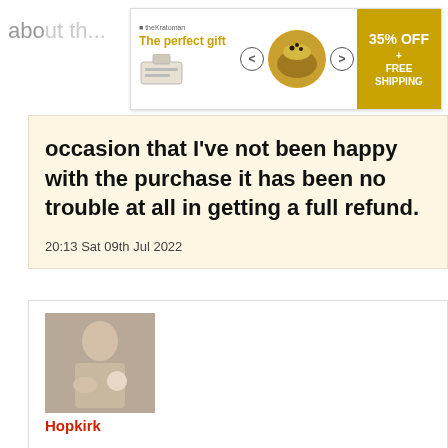[Figure (other): Advertisement banner: The perfect gift, 35% OFF + FREE SHIPPING, with bowl image]
occasion that I've not been happy with the purchase it has been no trouble at all in getting a full refund.

20:13 Sat 09th Jul 2022
[Figure (photo): User avatar photo of a man with arms crossed]
Hopkirk
OK

20:16 Sat 09th Jul 2022